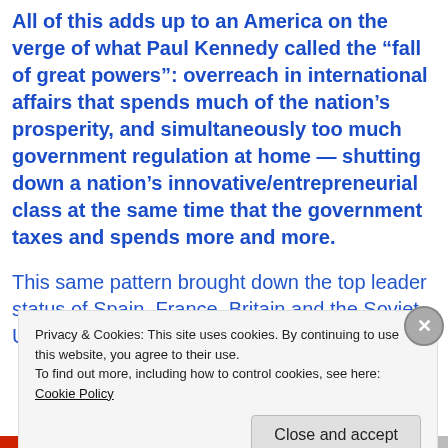All of this adds up to an America on the verge of what Paul Kennedy called the “fall of great powers”: overreach in international affairs that spends much of the nation’s prosperity, and simultaneously too much government regulation at home — shutting down a nation’s innovative/entrepreneurial class at the same time that the government taxes and spends more and more.
This same pattern brought down the top leader status of Spain, France, Britain and the Soviet Union. Before these,
Privacy & Cookies: This site uses cookies. By continuing to use this website, you agree to their use.
To find out more, including how to control cookies, see here: Cookie Policy
Close and accept